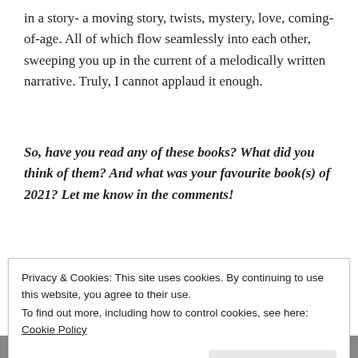in a story- a moving story, twists, mystery, love, coming-of-age. All of which flow seamlessly into each other, sweeping you up in the current of a melodically written narrative. Truly, I cannot applaud it enough.
So, have you read any of these books? What did you think of them? And what was your favourite book(s) of 2021? Let me know in the comments!
Advertisements
[Figure (other): WordPress advertisement banner with blue-teal gradient background, WordPress logo (white circle with W), and a smartphone image on the right]
Privacy & Cookies: This site uses cookies. By continuing to use this website, you agree to their use.
To find out more, including how to control cookies, see here:
Cookie Policy
Close and accept